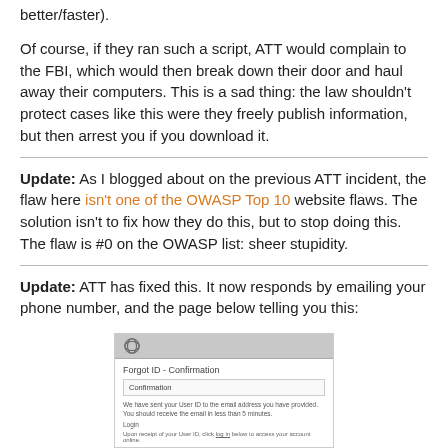better/faster).
Of course, if they ran such a script, ATT would complain to the FBI, which would then break down their door and haul away their computers. This is a sad thing: the law shouldn't protect cases like this were they freely publish information, but then arrest you if you download it.
Update: As I blogged about on the previous ATT incident, the flaw here isn't one of the OWASP Top 10 website flaws. The solution isn't to fix how they do this, but to stop doing this. The flaw is #0 on the OWASP list: sheer stupidity.
Update: ATT has fixed this. It now responds by emailing your phone number, and the page below telling you this:
[Figure (screenshot): ATT website screenshot showing Forgot ID - Confirmation page with Confirmation message box and Login link]